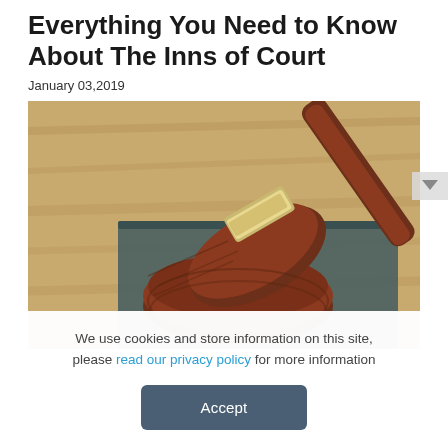Everything You Need to Know About The Inns of Court
January 03,2019
[Figure (photo): Close-up photograph of a wooden judge's gavel resting on its sound block, placed on top of a dark book, on a wooden surface background.]
We use cookies and store information on this site, please read our privacy policy for more information
Accept